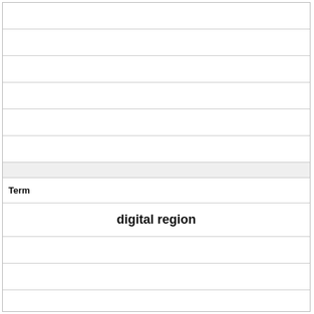Term
digital region
Definition
finger